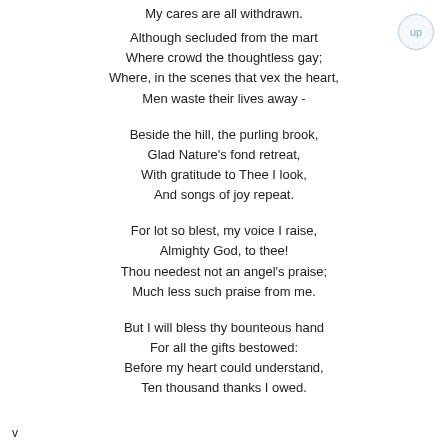My cares are all withdrawn.

Although secluded from the mart
Where crowd the thoughtless gay;
Where, in the scenes that vex the heart,
Men waste their lives away -

Beside the hill, the purling brook,
Glad Nature's fond retreat,
With gratitude to Thee I look,
And songs of joy repeat.

For lot so blest, my voice I raise,
Almighty God, to thee!
Thou needest not an angel's praise;
Much less such praise from me.

But I will bless thy bounteous hand
For all the gifts bestowed:
Before my heart could understand,
Ten thousand thanks I owed.
v